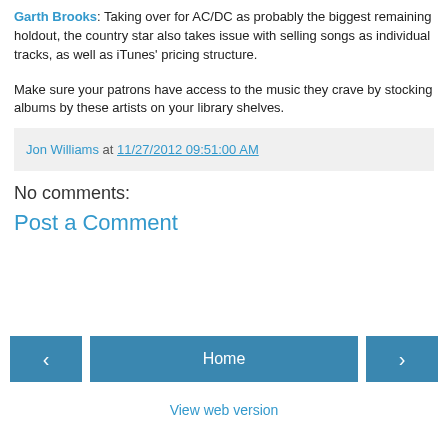Garth Brooks: Taking over for AC/DC as probably the biggest remaining holdout, the country star also takes issue with selling songs as individual tracks, as well as iTunes' pricing structure.
Make sure your patrons have access to the music they crave by stocking albums by these artists on your library shelves.
Jon Williams at 11/27/2012 09:51:00 AM
No comments:
Post a Comment
Home
View web version